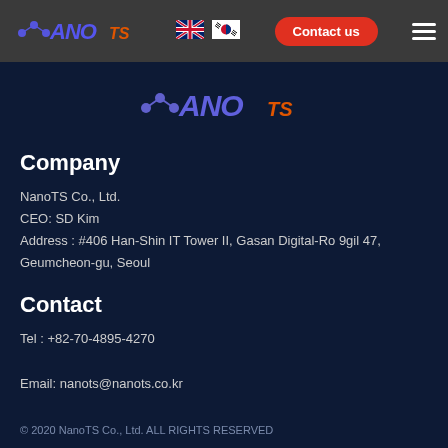[Figure (logo): NanoTS logo in nav bar with blue NANO and orange TS text]
[Figure (logo): UK flag icon]
[Figure (logo): South Korea flag icon]
[Figure (logo): Contact us button - red pill-shaped button]
[Figure (logo): Hamburger menu icon]
[Figure (logo): NanoTS centered logo in dark blue area]
Company
NanoTS Co., Ltd.
CEO: SD Kim
Address : #406 Han-Shin IT Tower II, Gasan Digital-Ro 9gil 47, Geumcheon-gu, Seoul
Contact
Tel : +82-70-4895-4270
Email: nanots@nanots.co.kr
© 2020 NanoTS Co., Ltd. ALL RIGHTS RESERVED